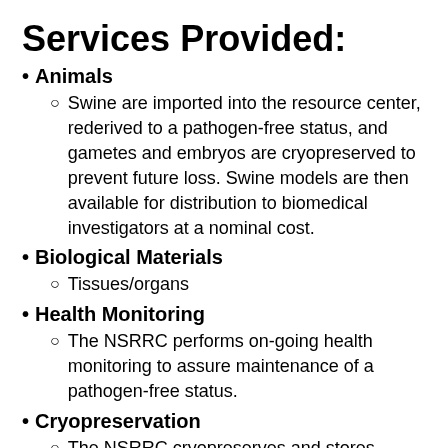Services Provided:
Animals
Swine are imported into the resource center, rederived to a pathogen-free status, and gametes and embryos are cryopreserved to prevent future loss. Swine models are then available for distribution to biomedical investigators at a nominal cost.
Biological Materials
Tissues/organs
Health Monitoring
The NSRRC performs on-going health monitoring to assure maintenance of a pathogen-free status.
Cryopreservation
The NSRRC cryopreserves and stores gametes, embryos, and somatic cells to prevent loss of valuable models.